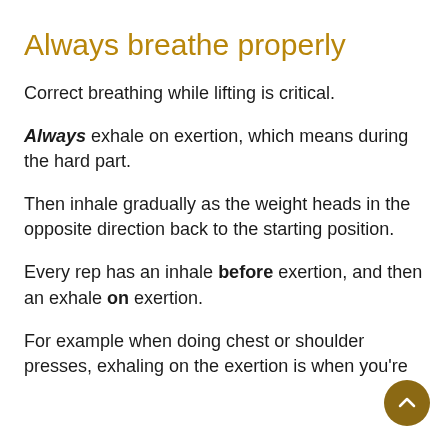Always breathe properly
Correct breathing while lifting is critical.
Always exhale on exertion, which means during the hard part.
Then inhale gradually as the weight heads in the opposite direction back to the starting position.
Every rep has an inhale before exertion, and then an exhale on exertion.
For example when doing chest or shoulder presses, exhaling on the exertion is when you're